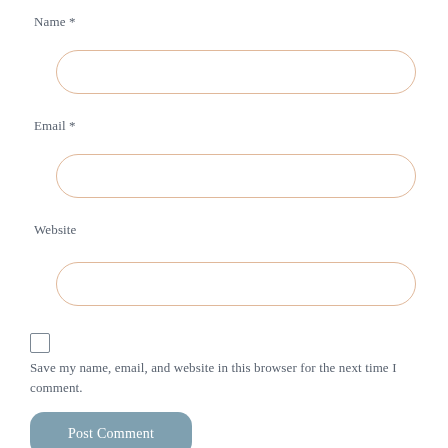Name *
[Figure (other): Empty rounded text input field for Name]
Email *
[Figure (other): Empty rounded text input field for Email]
Website
[Figure (other): Empty rounded text input field for Website]
[Figure (other): Unchecked checkbox]
Save my name, email, and website in this browser for the next time I comment.
[Figure (other): Post Comment button with rounded corners and steel blue background]